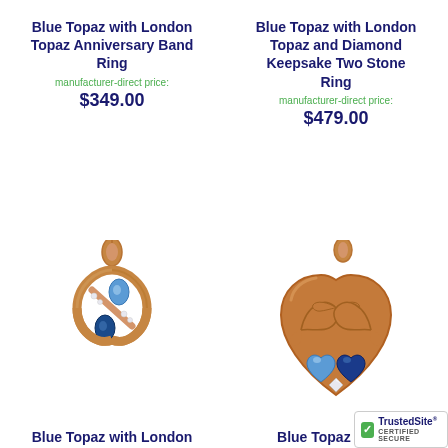Blue Topaz with London Topaz Anniversary Band Ring
manufacturer-direct price:
$349.00
Blue Topaz with London Topaz and Diamond Keepsake Two Stone Ring
manufacturer-direct price:
$479.00
[Figure (photo): Rose gold infinity pendant with blue topaz and diamond stones]
[Figure (photo): Rose gold dolphin heart pendant with blue topaz and sapphire heart stones]
Blue Topaz with London
Blue Topaz with L
[Figure (logo): TrustedSite Certified Secure badge]